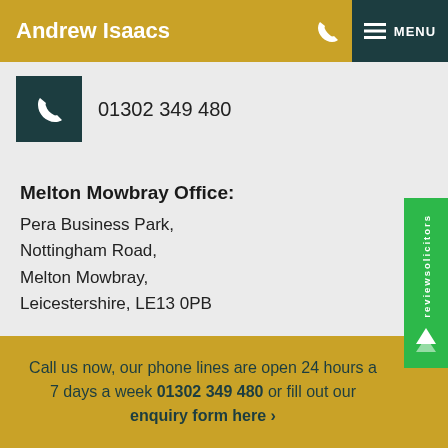Andrew Isaacs
01302 349 480
Melton Mowbray Office:
Pera Business Park,
Nottingham Road,
Melton Mowbray,
Leicestershire, LE13 0PB
01664 896 218
Call us now, our phone lines are open 24 hours a 7 days a week 01302 349 480 or fill out our enquiry form here >